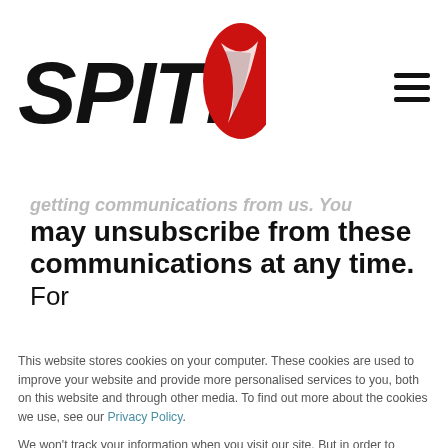[Figure (logo): Spitfire logo — bold italic black text 'SPITFIRE' with a red swoosh/wing graphic to the right]
getting communications from us. You may unsubscribe from these communications at any time. For
This website stores cookies on your computer. These cookies are used to improve your website and provide more personalised services to you, both on this website and through other media. To find out more about the cookies we use, see our Privacy Policy.
We won't track your information when you visit our site. But in order to comply with your preferences, we'll have to use just one tiny cookie so that you're not asked to make this choice again.
Accept
Decline